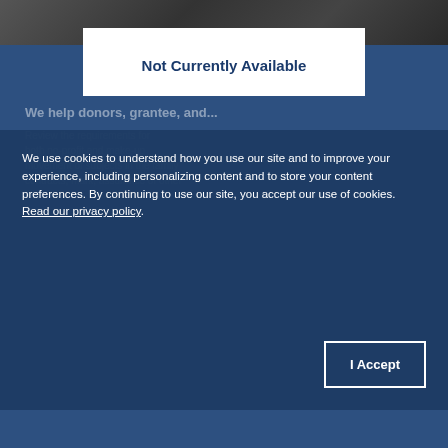[Figure (photo): Background photo strip at top of page showing a dark scene]
Not Currently Available
We use cookies to understand how you use our site and to improve your experience, including personalizing content and to store your content preferences. By continuing to use our site, you accept our use of cookies. Read our privacy policy.
I Accept